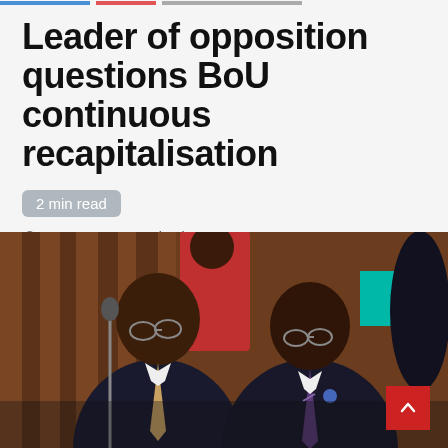Leader of opposition questions BoU continuous recapitalisation
2 min read
3 years ago   Ugbusiness
[Figure (photo): Two men in dark suits leaning over and looking at something together at a formal event, with other people visible in the background.]